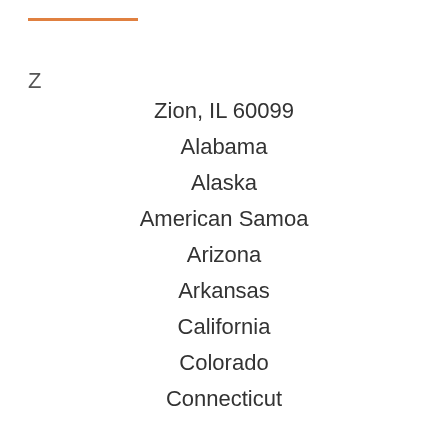Z
Zion, IL 60099
Alabama
Alaska
American Samoa
Arizona
Arkansas
California
Colorado
Connecticut